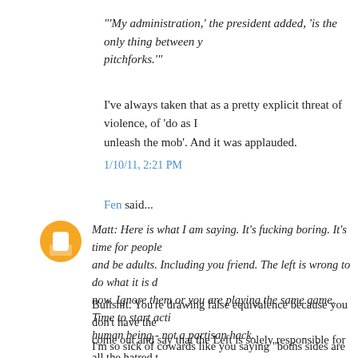'"My administration,' the president added, 'is the only thing between you and the pitchforks.'"
I've always taken that as a pretty explicit threat of violence, of 'do as I say or I'll unleash the mob'. And it was applauded.
1/10/11, 2:21 PM
Fen said...
Matt: Here is what I am saying. It's fucking boring. It's time for people to grow up and be adults. Including you friend. The left is wrong to do what it is doing right now. Ignore them or you are playing the same game. Time to start acting like a human being - not a partisan hack.
Bullshit. You're drawing false equivalence because you don't have the balls to come out and say that the Left is solely responsible for all the hatred they have formented.
I'm so sick of cowards like you saying "boths sides are just as guilty"